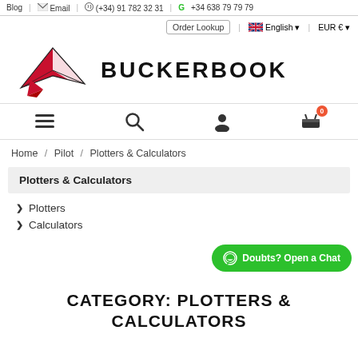Blog | Email | (+34) 91 782 32 31 | +34 638 79 79 79
Order Lookup | English | EUR €
[Figure (logo): BuckerBook logo with red paper airplane icon and bold text BUCKERBOOK]
[Figure (infographic): Navigation icons: hamburger menu, search, user account, shopping cart with 0 badge]
Home / Pilot / Plotters & Calculators
Plotters & Calculators
Plotters
Calculators
Doubts? Open a Chat
CATEGORY: PLOTTERS & CALCULATORS